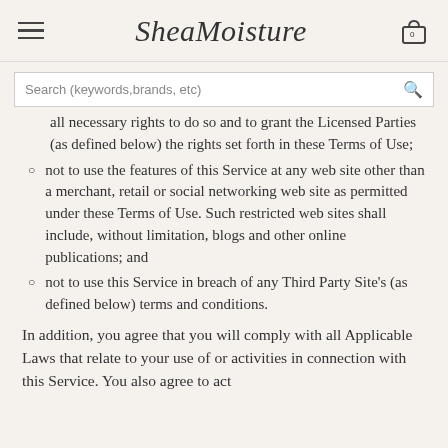SheaMoisture
Search (keywords,brands, etc)
all necessary rights to do so and to grant the Licensed Parties (as defined below) the rights set forth in these Terms of Use;
not to use the features of this Service at any web site other than a merchant, retail or social networking web site as permitted under these Terms of Use. Such restricted web sites shall include, without limitation, blogs and other online publications; and
not to use this Service in breach of any Third Party Site's (as defined below) terms and conditions.
In addition, you agree that you will comply with all Applicable Laws that relate to your use of or activities in connection with this Service. You also agree to act